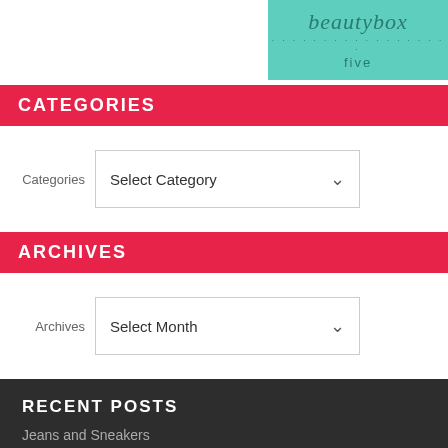[Figure (logo): Beauty Box Five logo on teal/mint background with script text and dotted border lines]
CATEGORIES
Categories   Select Category
ARCHIVES
Archives   Select Month
RECENT POSTS
Jeans and Sneakers
Happy Hearts Day / Valentine's Day!
Casual Fridays